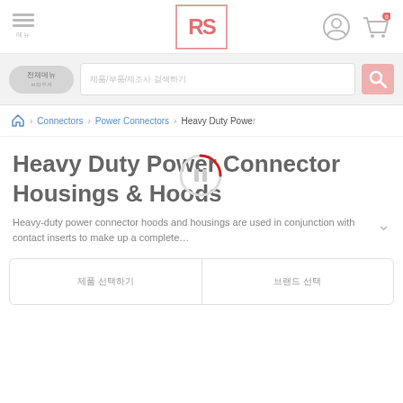[Figure (logo): RS Components logo - red RS letters in a bordered box]
[Figure (screenshot): User account icon (circle with person silhouette) and shopping cart icon with 0 badge]
[Figure (screenshot): Search bar with browse button and search icon]
Connectors > Power Connectors > Heavy Duty Power
Heavy Duty Power Connector Housings & Hoods
Heavy-duty power connector hoods and housings are used in conjunction with contact inserts to make up a complete…
| 제품 선택하기 | 브랜드 선택 |
| --- | --- |